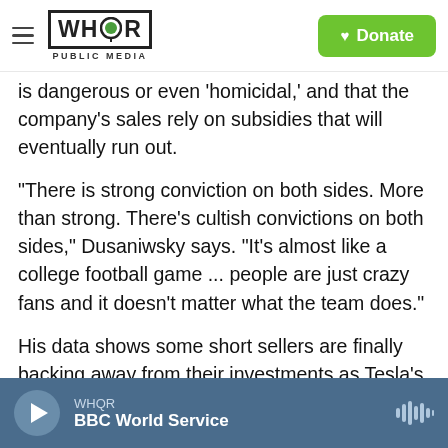WHQR PUBLIC MEDIA | Donate
is dangerous or even 'homicidal,' and that the company's sales rely on subsidies that will eventually run out.
"There is strong conviction on both sides. More than strong. There's cultish convictions on both sides," Dusaniwsky says. "It's almost like a college football game ... people are just crazy fans and it doesn't matter what the team does."
His data shows some short sellers are finally backing away from their investments as Tesla's remarkable rally continues. Forty percent of all the short sales of Tesla stock have been closed out
WHQR | BBC World Service